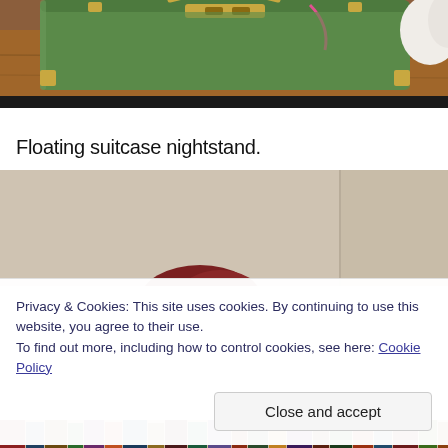[Figure (photo): Top portion of a green vintage suitcase on a wooden surface with white fluffy item visible at right edge]
Floating suitcase nightstand.
[Figure (photo): Lower portion of room scene with beige/cream wall and partial view of dark red object at bottom]
Privacy & Cookies: This site uses cookies. By continuing to use this website, you agree to their use.
To find out more, including how to control cookies, see here: Cookie Policy
Close and accept
[Figure (photo): Bottom strip of image showing bookshelf or shelving with various items]